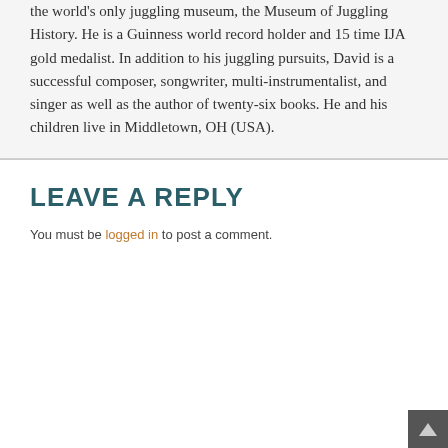the world's only juggling museum, the Museum of Juggling History. He is a Guinness world record holder and 15 time IJA gold medalist. In addition to his juggling pursuits, David is a successful composer, songwriter, multi-instrumentalist, and singer as well as the author of twenty-six books. He and his children live in Middletown, OH (USA).
LEAVE A REPLY
You must be logged in to post a comment.